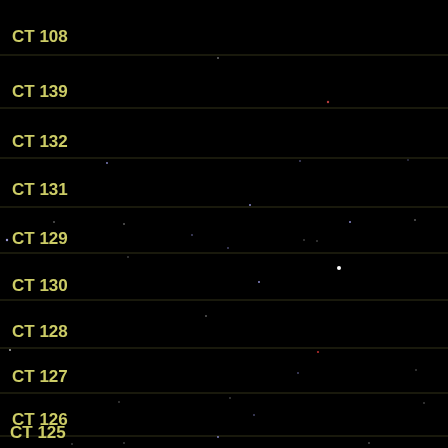[Figure (photo): Astronomical star field image showing multiple rows of sky survey strips labeled CT 108, CT 139, CT 132, CT 131, CT 129, CT 130, CT 128, CT 127, CT 126, CT 125, CT 121, CT 120, with scattered stars visible against a black background. Each row is separated by a thin horizontal line.]